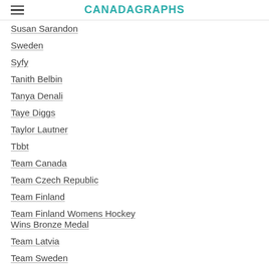CANADAGRAPHS
Susan Sarandon
Sweden
Syfy
Tanith Belbin
Tanya Denali
Taye Diggs
Taylor Lautner
Tbbt
Team Canada
Team Czech Republic
Team Finland
Team Finland Womens Hockey Wins Bronze Medal
Team Latvia
Team Sweden